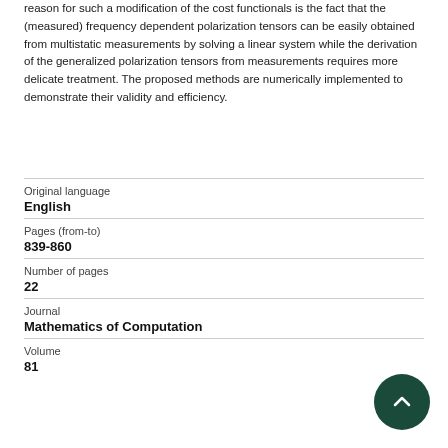reason for such a modification of the cost functionals is the fact that the (measured) frequency dependent polarization tensors can be easily obtained from multistatic measurements by solving a linear system while the derivation of the generalized polarization tensors from measurements requires more delicate treatment. The proposed methods are numerically implemented to demonstrate their validity and efficiency.
| Field | Value |
| --- | --- |
| Original language | English |
| Pages (from-to) | 839-860 |
| Number of pages | 22 |
| Journal | Mathematics of Computation |
| Volume | 81 |